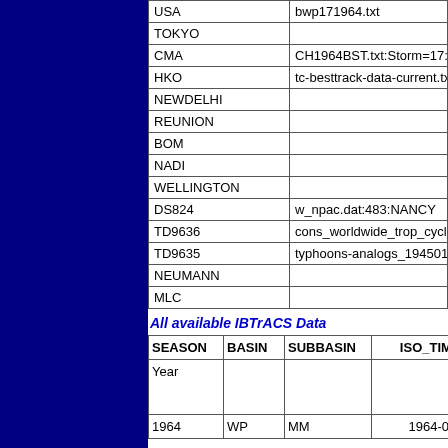|  |  |
| --- | --- |
| USA | bwp171964.txt |
| TOKYO |  |
| CMA | CH1964BST.txt:Storm=17:Nancy |
| HKO | tc-besttrack-data-current.txt:Line |
| NEWDELHI |  |
| REUNION |  |
| BOM |  |
| NADI |  |
| WELLINGTON |  |
| DS824 | w_npac.dat:483:NANCY |
| TD9636 | cons_worldwide_trop_cyclone_1 |
| TD9635 | typhoons-analogs_19450101-19 |
| NEUMANN |  |
| MLC |  |
All available IBTrACS Data
| SEASON | BASIN | SUBBASIN | ISO_TIME__ |
| --- | --- | --- | --- |
| Year |  |  |  |
| 1964 | WP | MM | 1964-08-17 |